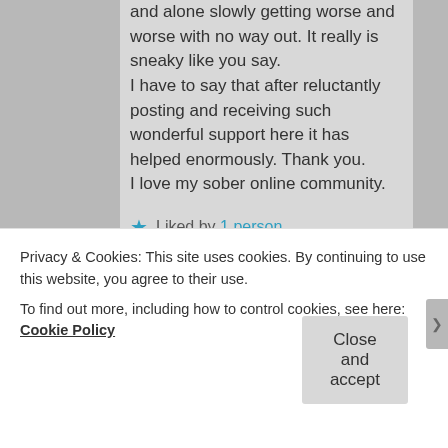and alone slowly getting worse and worse with no way out. It really is sneaky like you say.
I have to say that after reluctantly posting and receiving such wonderful support here it has helped enormously. Thank you.
I love my sober online community.
★ Liked by 1 person
Ainsobriety
Privacy & Cookies: This site uses cookies. By continuing to use this website, you agree to their use.
To find out more, including how to control cookies, see here: Cookie Policy
Close and accept